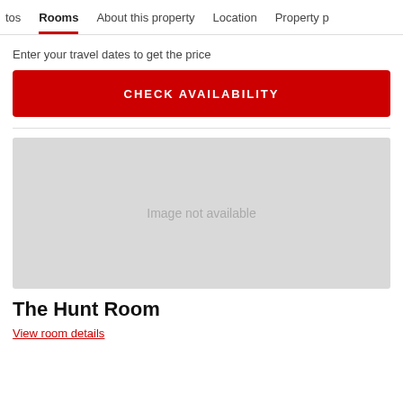tos  Rooms  About this property  Location  Property p
Enter your travel dates to get the price
CHECK AVAILABILITY
[Figure (photo): Image not available placeholder for The Hunt Room]
The Hunt Room
View room details